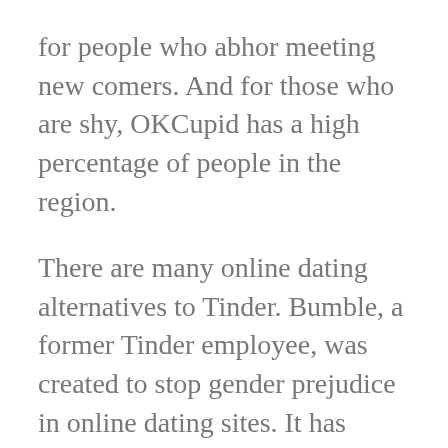for people who abhor meeting new comers. And for those who are shy, OKCupid has a high percentage of people in the region.
There are many online dating alternatives to Tinder. Bumble, a former Tinder employee, was created to stop gender prejudice in online dating sites. It has similar features to Tinder, nevertheless women should message the matches 1st. Men can only reply following 24 hours. Bumble also offers tone and video calling. It is a great solution for women to Tinder, as its